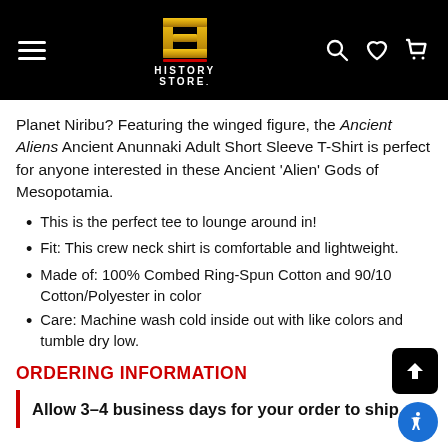[Figure (logo): History Store website header with hamburger menu icon on left, gold H logo with HISTORY STORE text in center, and search/heart/cart icons on right, all on black background]
Planet Niribu? Featuring the winged figure, the Ancient Aliens Ancient Anunnaki Adult Short Sleeve T-Shirt is perfect for anyone interested in these Ancient 'Alien' Gods of Mesopotamia.
This is the perfect tee to lounge around in!
Fit: This crew neck shirt is comfortable and lightweight.
Made of: 100% Combed Ring-Spun Cotton and 90/10 Cotton/Polyester in color
Care: Machine wash cold inside out with like colors and tumble dry low.
ORDERING INFORMATION
Allow 3-4 business days for your order to ship.